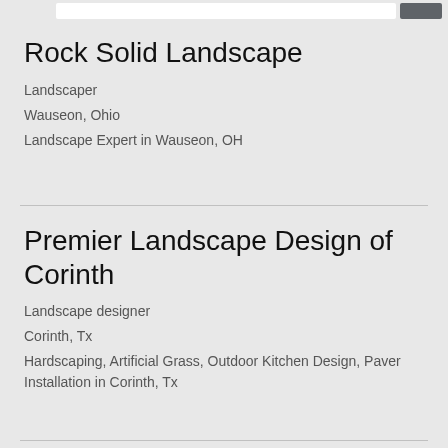Rock Solid Landscape
Landscaper
Wauseon, Ohio
Landscape Expert in Wauseon, OH
Premier Landscape Design of Corinth
Landscape designer
Corinth, Tx
Hardscaping, Artificial Grass, Outdoor Kitchen Design, Paver Installation in Corinth, Tx